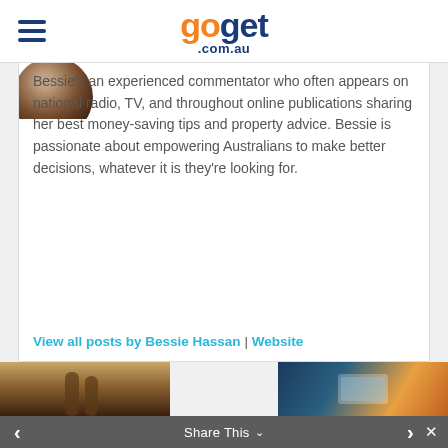goget .com.au
[Figure (photo): Partial profile photo of Bessie Hassan (circular crop, dark hair)]
Bessie's an experienced commentator who often appears on national radio, TV, and throughout online publications sharing her best money-saving tips and property advice. Bessie is passionate about empowering Australians to make better decisions, whatever it is they're looking for.
View all posts by Bessie Hassan | Website
[Figure (photo): Left bottom thumbnail photo – person's legs on beach]
[Figure (photo): Right bottom thumbnail photo – city skyline at dusk with phone]
Share This ˅